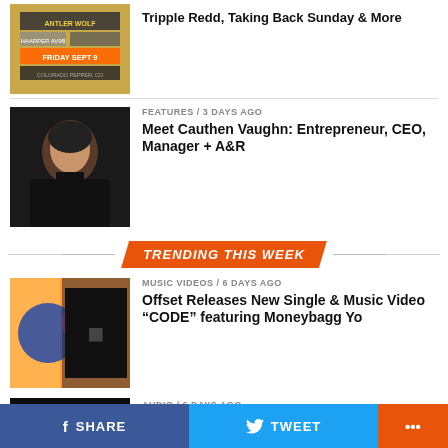Tripple Redd, Taking Back Sunday & More
[Figure (photo): Concert event poster - Friday Sept 9]
FEATURES / 3 days ago
Meet Cauthen Vaughn: Entrepreneur, CEO, Manager + A&R
[Figure (photo): Photo of Cauthen Vaughn in black shirt]
TRENDING THIS WEEK
MUSIC VIDEOS / 6 days ago
Offset Releases New Single & Music Video “CODE” featuring Moneybagg Yo
[Figure (photo): Colorful music video still with artists]
AUDIO / 6 days ago
The Evil Empire Is Back!
[Figure (photo): Dark photo with performer]
UNCATEGORIZED / 3 days ago
[Figure (photo): Tripple Redd album/promo thumbnail]
SHARE   TWEET   ...